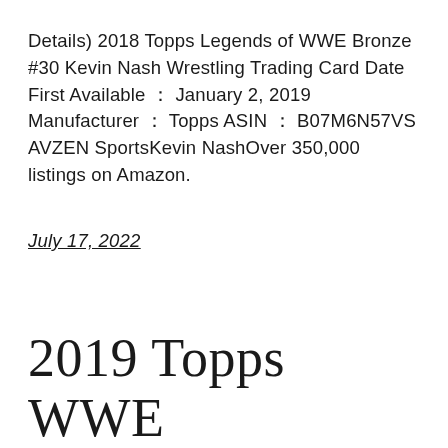Details) 2018 Topps Legends of WWE Bronze #30 Kevin Nash Wrestling Trading Card Date First Available ： January 2, 2019 Manufacturer ： Topps ASIN ： B07M6N57VS AVZEN SportsKevin NashOver 350,000 listings on Amazon.
July 17, 2022
2019 Topps WWE